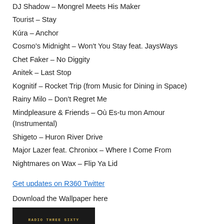DJ Shadow – Mongrel Meets His Maker
Tourist – Stay
Kúra – Anchor
Cosmo's Midnight – Won't You Stay feat. JaysWays
Chet Faker – No Diggity
Anitek – Last Stop
Kognitif – Rocket Trip (from Music for Dining in Space)
Rainy Milo – Don't Regret Me
Mindpleasure & Friends – Où Es-tu mon Amour (Instrumental)
Shigeto – Huron River Drive
Major Lazer feat. Chronixx – Where I Come From
Nightmares on Wax – Flip Ya Lid
Get updates on R360 Twitter
Download the Wallpaper here
[Figure (logo): Radio Three Sixty logo on dark background with tagline 'Music for wandering minds']